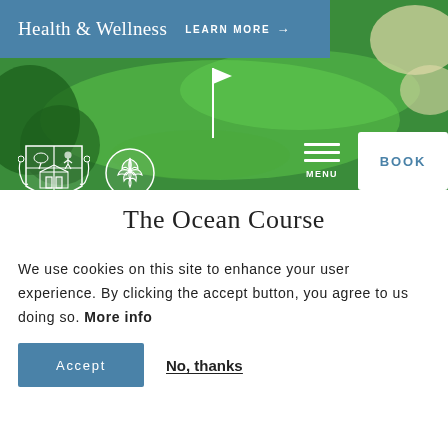Health & Wellness  LEARN MORE →
[Figure (photo): Aerial view of a lush green golf course with a flag on the green and white sand bunkers visible at right. Resort crest and shell logos overlay on lower left. Menu and Book navigation buttons on lower right.]
The Ocean Course
We use cookies on this site to enhance your user experience. By clicking the accept button, you agree to us doing so. More info
Accept
No, thanks